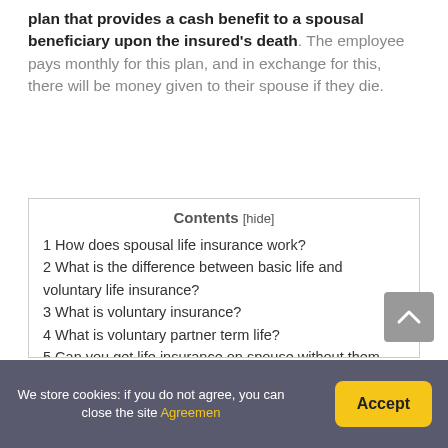plan that provides a cash benefit to a spousal beneficiary upon the insured's death. The employee pays monthly for this plan, and in exchange for this, there will be money given to their spouse if they die.
| Contents |
| --- |
| 1 How does spousal life insurance work? |
| 2 What is the difference between basic life and voluntary life insurance? |
| 3 What is voluntary insurance? |
| 4 What is voluntary partner term life? |
| 5 Can you get life insurance on spouse without them knowing? |
| 6 Is voluntary life insurance good? |
| 7 Does voluntary life insurance cover accidental death? |
| 8 What is voluntary spouse life and AD&D? |
| 9 What are some examples of voluntary benefits? |
| 10 What are considered voluntary benefits? |
We store cookies: if you do not agree, you can close the site Agreemen